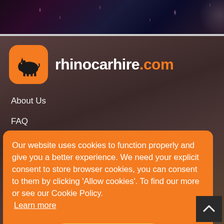[Figure (photo): Dark rainy window background image at top of page]
[Figure (logo): Rhinocarhire.com logo — orange rounded square with black rhino silhouette, text 'rhinocarhire.com' with '.com' in orange]
About Us
FAQ
Our website uses cookies to function properly and give you a better experience. We need your explicit consent to store browser cookies, you can consent to them by clicking ‘Allow cookies’. To find our more or see our Cookie Policy.
Learn more
Allow Cookies